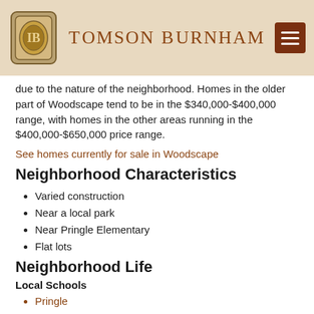Tomson Burnham
due to the nature of the neighborhood. Homes in the older part of Woodscape tend to be in the $340,000-$400,000 range, with homes in the other areas running in the $400,000-$650,000 price range.
See homes currently for sale in Woodscape
Neighborhood Characteristics
Varied construction
Near a local park
Near Pringle Elementary
Flat lots
Neighborhood Life
Local Schools
Pringle
Judson MS
South HS